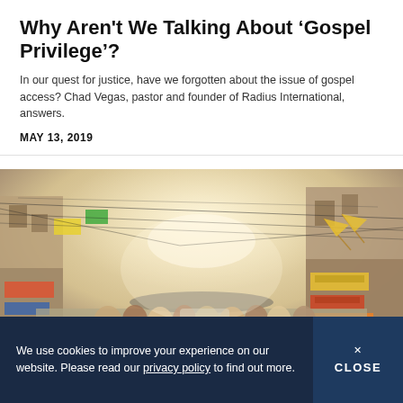Why Aren't We Talking About 'Gospel Privilege'?
In our quest for justice, have we forgotten about the issue of gospel access? Chad Vegas, pastor and founder of Radius International, answers.
MAY 13, 2019
[Figure (photo): A crowded street scene in an Indian city, with many people, colorful signs in Hindi and other scripts, utility wires overhead, and shops lining both sides of a narrow road. A cyan DONATE tab with a heart icon is overlaid on the right side.]
We use cookies to improve your experience on our website. Please read our privacy policy to find out more.